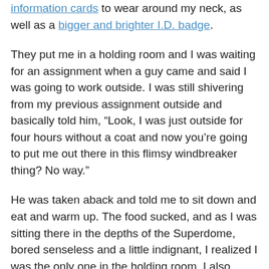information cards to wear around my neck, as well as a bigger and brighter I.D. badge.
They put me in a holding room and I was waiting for an assignment when a guy came and said I was going to work outside. I was still shivering from my previous assignment outside and basically told him, “Look, I was just outside for four hours without a coat and now you’re going to put me out there in this flimsy windbreaker thing? No way.”
He was taken aback and told me to sit down and eat and warm up. The food sucked, and as I was sitting there in the depths of the Superdome, bored senseless and a little indignant, I realized I was the only one in the holding room. I also realized I had complete security clearance, so I got up and started poking around.